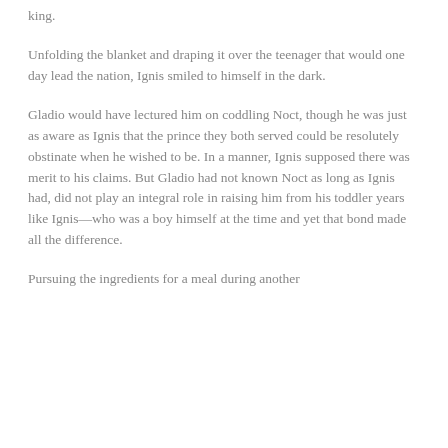king.
Unfolding the blanket and draping it over the teenager that would one day lead the nation, Ignis smiled to himself in the dark.
Gladio would have lectured him on coddling Noct, though he was just as aware as Ignis that the prince they both served could be resolutely obstinate when he wished to be. In a manner, Ignis supposed there was merit to his claims. But Gladio had not known Noct as long as Ignis had, did not play an integral role in raising him from his toddler years like Ignis—who was a boy himself at the time and yet that bond made all the difference.
Pursuing the ingredients for a meal during another